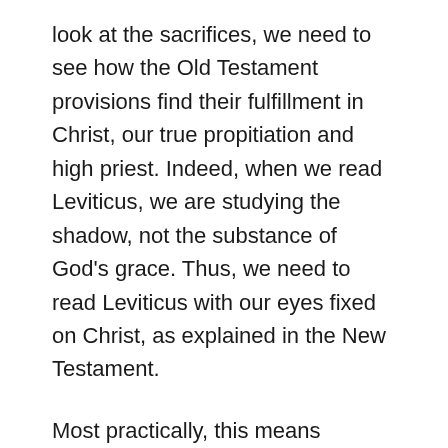look at the sacrifices, we need to see how the Old Testament provisions find their fulfillment in Christ, our true propitiation and high priest. Indeed, when we read Leviticus, we are studying the shadow, not the substance of God's grace. Thus, we need to read Leviticus with our eyes fixed on Christ, as explained in the New Testament.
Most practically, this means reading Leviticus with Hebrews. Hebrews is the book which best explains how the old covenant came to an end in Christ's death and resurrection. And it explains what it means for Christ to be our great high priest. Thus, we are given in Hebrews the answer key. Yet, Leviticus is the book that gives us the exam questions. Thus, we cannot fully appreciate the glories of Hebrews without Leviticus. And we cannot rightly read Leviticus without Hebrews. So, as you read